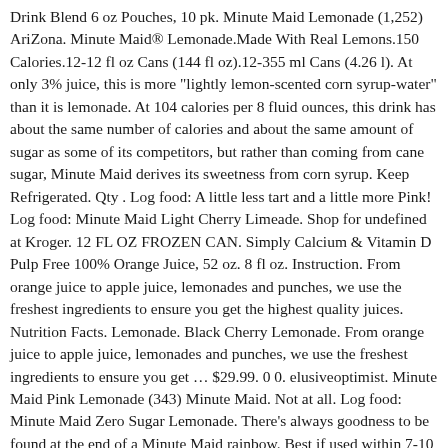Drink Blend 6 oz Pouches, 10 pk. Minute Maid Lemonade (1,252) AriZona. Minute Maid® Lemonade.Made With Real Lemons.150 Calories.12-12 fl oz Cans (144 fl oz).12-355 ml Cans (4.26 l). At only 3% juice, this is more "lightly lemon-scented corn syrup-water" than it is lemonade. At 104 calories per 8 fluid ounces, this drink has about the same number of calories and about the same amount of sugar as some of its competitors, but rather than coming from cane sugar, Minute Maid derives its sweetness from corn syrup. Keep Refrigerated. Qty . Log food: A little less tart and a little more Pink! Log food: Minute Maid Light Cherry Limeade. Shop for undefined at Kroger. 12 FL OZ FROZEN CAN. Simply Calcium & Vitamin D Pulp Free 100% Orange Juice, 52 oz. 8 fl oz. Instruction. From orange juice to apple juice, lemonades and punches, we use the freshest ingredients to ensure you get the highest quality juices. Nutrition Facts. Lemonade. Black Cherry Lemonade. From orange juice to apple juice, lemonades and punches, we use the freshest ingredients to ensure you get … $29.99. 0 0. elusiveoptimist. Minute Maid Pink Lemonade (343) Minute Maid. Not at all. Log food: Minute Maid Zero Sugar Lemonade. There's always goodness to be found at the end of a Minute Maid rainbow. Best if used within 7-10 days after opening. Minute Maid Lemonade, 12 Oz, Pack Of 24. It is manufactured by the Coca-Cola Company, which was founded in Atlanta around 1891 and built around one product: Coca-Cola. from Pavilions. Only 2 left in stock - order soon. Oz. The Official Lemonade of